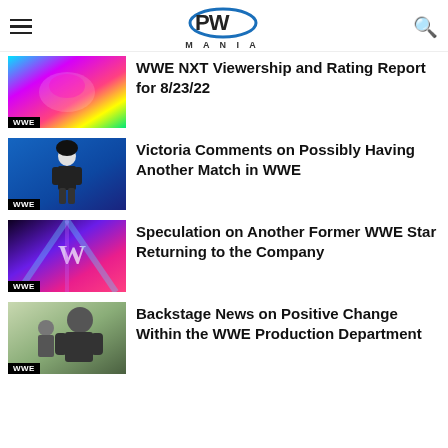PW MANIA
WWE NXT Viewership and Rating Report for 8/23/22
Victoria Comments on Possibly Having Another Match in WWE
Speculation on Another Former WWE Star Returning to the Company
Backstage News on Positive Change Within the WWE Production Department